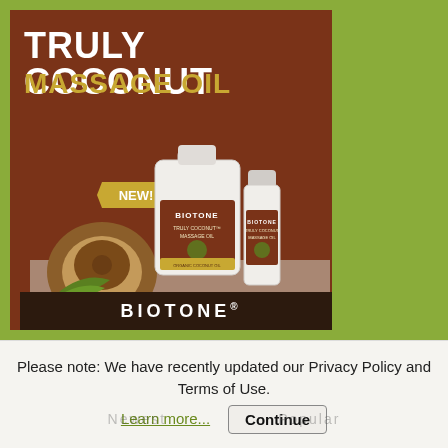[Figure (illustration): Biotone Truly Coconut Massage Oil product advertisement. Brown background with white text 'TRULY COCONUT' and gold text 'MASSAGE OIL'. Two product bottles (large gallon jug and smaller bottle) are shown with a coconut and green leaves. A gold 'NEW!' badge is visible. Dark brown footer bar reads 'BIOTONE' in white letters. The ad sits on a green-olive background.]
Please note: We have recently updated our Privacy Policy and Terms of Use. Learn more... Continue